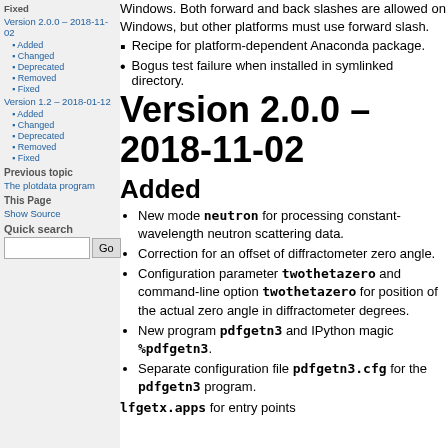deprecated ... --file option path argument. In Windows. Both forward and back slashes are allowed on Windows, but other platforms must use forward slash.
Recipe for platform-dependent Anaconda package.
Bogus test failure when installed in symlinked directory.
Version 2.0.0 – 2018-11-02
Added
New mode neutron for processing constant-wavelength neutron scattering data.
Correction for an offset of diffractometer zero angle.
Configuration parameter twothetazero and command-line option twothetazero for position of the actual zero angle in diffractometer degrees.
New program pdfgetn3 and IPython magic %pdfgetn3.
Separate configuration file pdfgetn3.cfg for the pdfgetn3 program.
lfgetx.apps for entry points
Sidebar: Fixed, Version 2.0.0 – 2018-11-02, Added, Changed, Deprecated, Removed, Fixed, Version 1.2 – 2018-01-12, Added, Changed, Deprecated, Removed, Fixed, Previous topic, The plotdata program, This Page, Show Source, Quick search